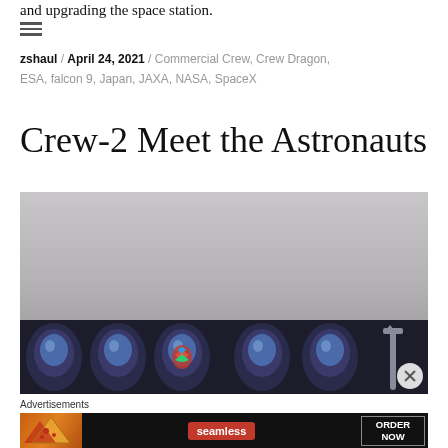and upgrading the space station.
≡
zshaul / April 24, 2021 / Commercial Crew, Crew Dragon, ESA, falcon 9, Japan, JAXA, NASA, SpaceX
Crew-2 Meet the Astronauts
[Figure (photo): Photo showing astronaut helmets displayed on a dark banner/panel with a rocket silhouette visible in the background on the right side. The upper portion shows a light gray background/wall.]
Advertisements
[Figure (photo): Seamless food delivery advertisement banner showing pizza slices on the left, Seamless logo in the center, and ORDER NOW button on the right, on a dark background.]